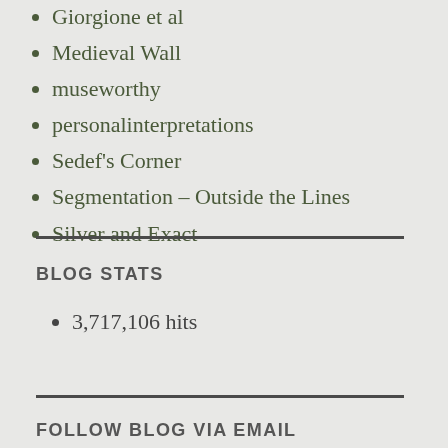Giorgione et al
Medieval Wall
museworthy
personalinterpretations
Sedef's Corner
Segmentation – Outside the Lines
Silver and Exact
BLOG STATS
3,717,106 hits
FOLLOW BLOG VIA EMAIL